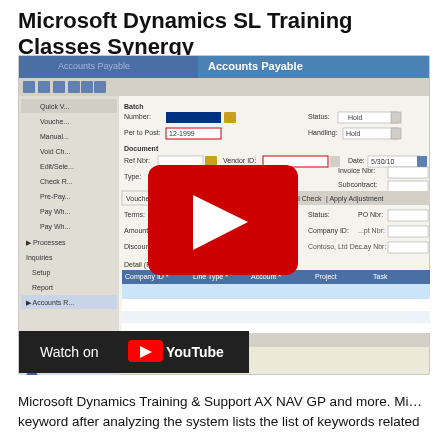Microsoft Dynamics SL Training Classes Synergy
[Figure (screenshot): YouTube video thumbnail showing Microsoft Dynamics SL - User Interface Demo with Accounts Payable screen visible. Has a red YouTube play button overlay and 'Watch on YouTube' bar at the bottom.]
Microsoft Dynamics Training & Support AX NAV GP and more. Mi… keyword after analyzing the system lists the list of keywords related